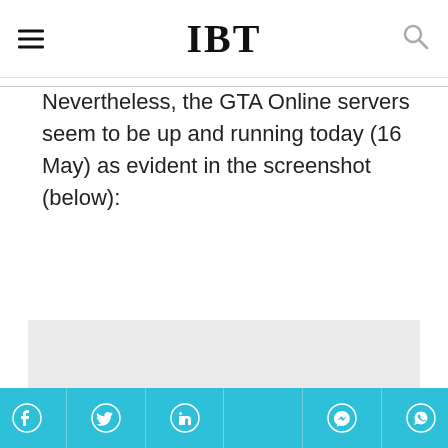IBT
Nevertheless, the GTA Online servers seem to be up and running today (16 May) as evident in the screenshot (below):
[Figure (photo): Grey placeholder image area representing a screenshot]
Social share bar with Facebook, Twitter, LinkedIn, Messenger, WhatsApp icons